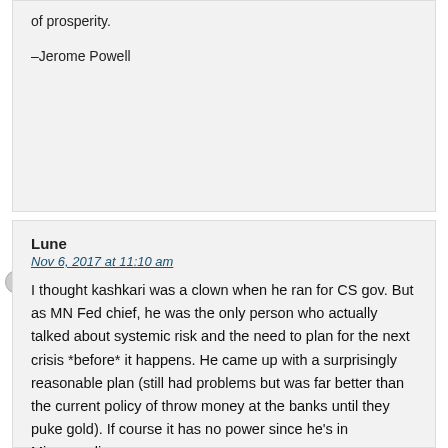of prosperity.
–Jerome Powell
Lune
Nov 6, 2017 at 11:10 am
I thought kashkari was a clown when he ran for CS gov. But as MN Fed chief, he was the only person who actually talked about systemic risk and the need to plan for the next crisis *before* it happens. He came up with a surprisingly reasonable plan (still had problems but was far better than the current policy of throw money at the banks until they puke gold). If course it has no power since he's in Minneapolis.